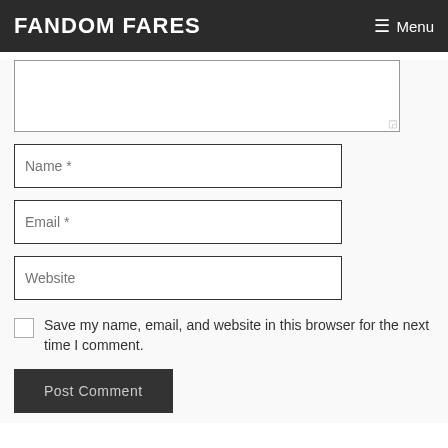FANDOM FARES | Menu
(Comment textarea)
Name *
Email *
Website
Save my name, email, and website in this browser for the next time I comment.
Post Comment